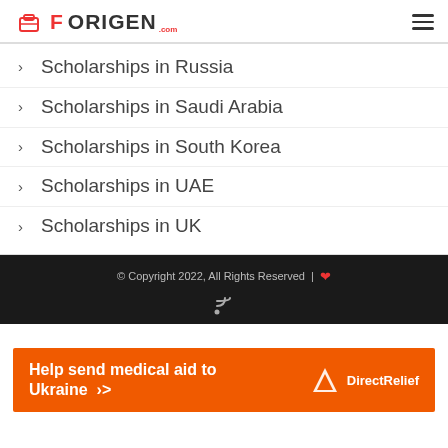FORIGEN.com
Scholarships in Russia
Scholarships in Saudi Arabia
Scholarships in South Korea
Scholarships in UAE
Scholarships in UK
© Copyright 2022, All Rights Reserved |
[Figure (infographic): Orange advertisement banner: 'Help send medical aid to Ukraine >>' with Direct Relief logo on the right]